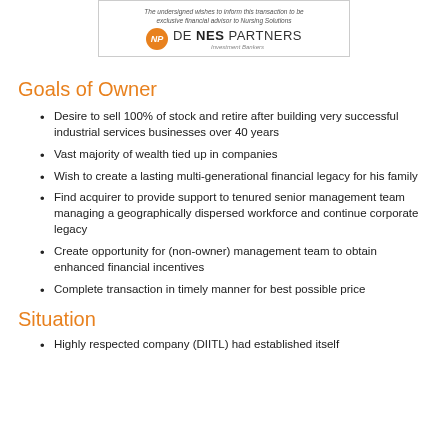[Figure (logo): De Nes Partners Investment Bankers logo with orange circular NP monogram and italic tagline]
Goals of Owner
Desire to sell 100% of stock and retire after building very successful industrial services businesses over 40 years
Vast majority of wealth tied up in companies
Wish to create a lasting multi-generational financial legacy for his family
Find acquirer to provide support to tenured senior management team managing a geographically dispersed workforce and continue corporate legacy
Create opportunity for (non-owner) management team to obtain enhanced financial incentives
Complete transaction in timely manner for best possible price
Situation
Highly respected company (DIITL) had established itself